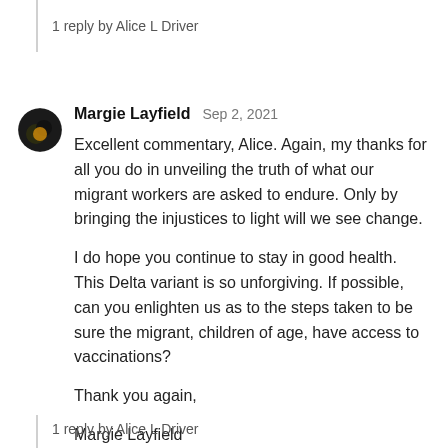1 reply by Alice L Driver
Margie Layfield  Sep 2, 2021

Excellent commentary, Alice. Again, my thanks for all you do in unveiling the truth of what our migrant workers are asked to endure. Only by bringing the injustices to light will we see change.

I do hope you continue to stay in good health. This Delta variant is so unforgiving. If possible, can you enlighten us as to the steps taken to be sure the migrant, children of age, have access to vaccinations?

Thank you again,

Margie Layfield
1 reply by Alice L Driver